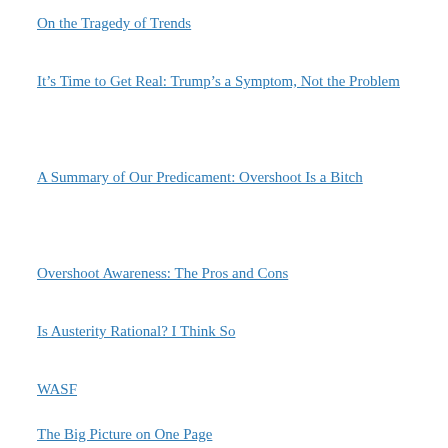On the Tragedy of Trends
It’s Time to Get Real: Trump’s a Symptom, Not the Problem
A Summary of Our Predicament: Overshoot Is a Bitch
Overshoot Awareness: The Pros and Cons
Is Austerity Rational? I Think So
WASF
The Big Picture on One Page